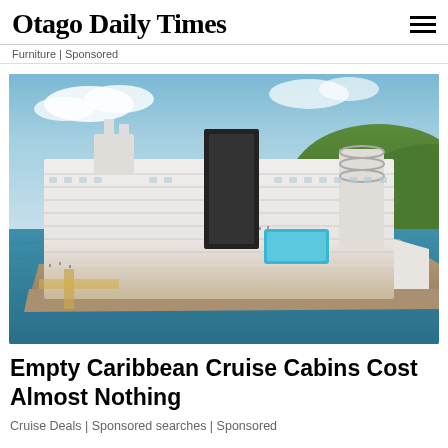Otago Daily Times
Furniture | Sponsored
[Figure (photo): Aerial view of a large cruise ship docked at a port, with turquoise ocean waters, green hills in the background, multiple decks with balconies, and a swimming pool visible on the stern deck.]
Empty Caribbean Cruise Cabins Cost Almost Nothing
Cruise Deals | Sponsored searches | Sponsored